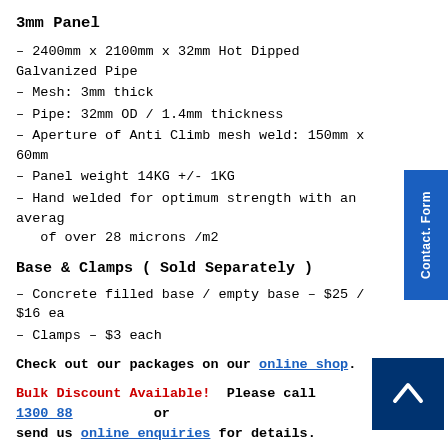3mm Panel
– 2400mm x 2100mm x 32mm Hot Dipped Galvanized Pipe
– Mesh: 3mm thick
– Pipe: 32mm OD / 1.4mm thickness
– Aperture of Anti Climb mesh weld: 150mm x 60mm
– Panel weight 14KG +/- 1KG
– Hand welded for optimum strength with an average of over 28 microns /m2
Base & Clamps ( Sold Separately )
– Concrete filled base / empty base – $25 / $16 each
– Clamps – $3 each
Check out our packages on our online shop.
Bulk Discount Available!  Please call 1300 88... or send us online enquiries for details.